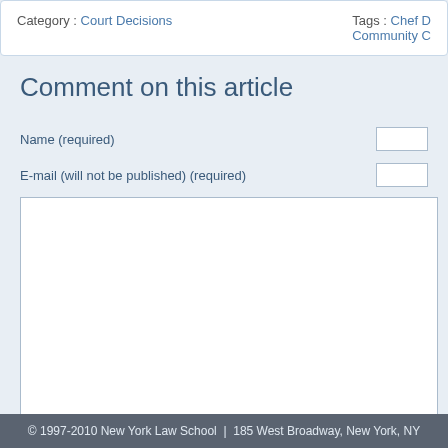Category : Court Decisions   Tags : Chef D Community C
Comment on this article
Name (required)
E-mail (will not be published) (required)
© 1997-2010 New York Law School | 185 West Broadway, New York, NY